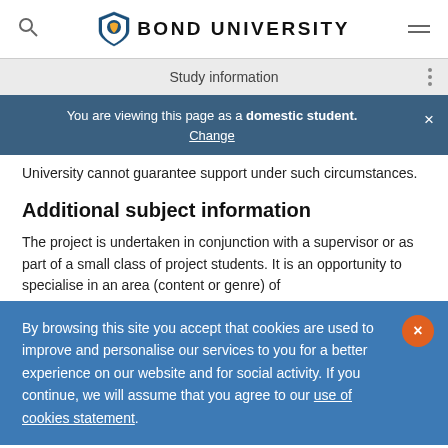BOND UNIVERSITY
Study information
You are viewing this page as a domestic student. Change
University cannot guarantee support under such circumstances.
Additional subject information
The project is undertaken in conjunction with a supervisor or as part of a small class of project students. It is an opportunity to specialise in an area (content or genre) of
By browsing this site you accept that cookies are used to improve and personalise our services to you for a better experience on our website and for social activity. If you continue, we will assume that you agree to our use of cookies statement.